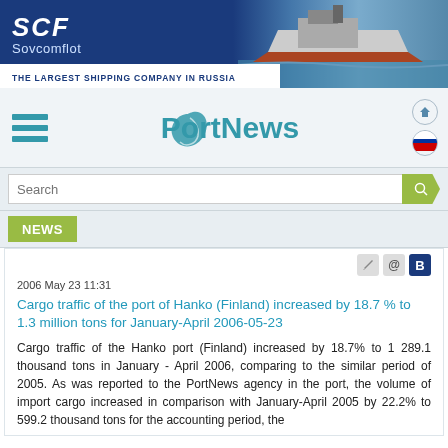[Figure (illustration): SCF Sovcomflot banner advertisement with ship image and tagline 'THE LARGEST SHIPPING COMPANY IN RUSSIA']
[Figure (logo): PortNews website logo with navigation hamburger menu and home/flag icons]
Search
NEWS
2006 May 23 11:31
Cargo traffic of the port of Hanko (Finland) increased by 18.7 % to 1.3 million tons for January-April 2006-05-23
Cargo traffic of the Hanko port (Finland) increased by 18.7% to 1 289.1 thousand tons in January - April 2006, comparing to the similar period of 2005. As was reported to the PortNews agency in the port, the volume of import cargo increased in comparison with January-April 2005 by 22.2% to 599.2 thousand tons for the accounting period, the